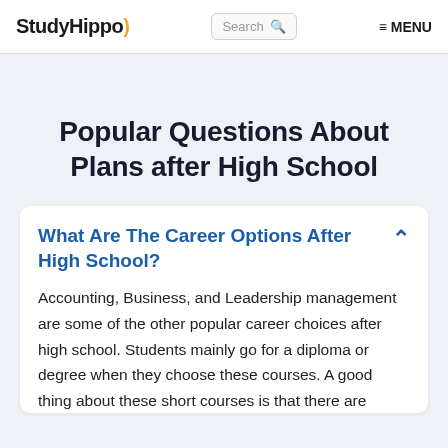StudyHippo) Search [search icon] ≡ MENU
Popular Questions About Plans after High School
What Are The Career Options After High School?
Accounting, Business, and Leadership management are some of the other popular career choices after high school. Students mainly go for a diploma or degree when they choose these courses. A good thing about these short courses is that there are